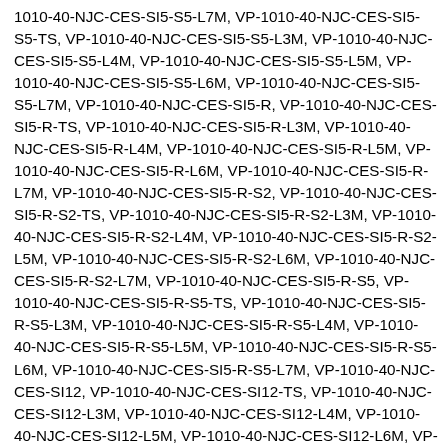1010-40-NJC-CES-SI5-S5-L7M, VP-1010-40-NJC-CES-SI5-S5-TS, VP-1010-40-NJC-CES-SI5-S5-L3M, VP-1010-40-NJC-CES-SI5-S5-L4M, VP-1010-40-NJC-CES-SI5-S5-L5M, VP-1010-40-NJC-CES-SI5-S5-L6M, VP-1010-40-NJC-CES-SI5-S5-L7M, VP-1010-40-NJC-CES-SI5-R, VP-1010-40-NJC-CES-SI5-R-TS, VP-1010-40-NJC-CES-SI5-R-L3M, VP-1010-40-NJC-CES-SI5-R-L4M, VP-1010-40-NJC-CES-SI5-R-L5M, VP-1010-40-NJC-CES-SI5-R-L6M, VP-1010-40-NJC-CES-SI5-R-L7M, VP-1010-40-NJC-CES-SI5-R-S2, VP-1010-40-NJC-CES-SI5-R-S2-TS, VP-1010-40-NJC-CES-SI5-R-S2-L3M, VP-1010-40-NJC-CES-SI5-R-S2-L4M, VP-1010-40-NJC-CES-SI5-R-S2-L5M, VP-1010-40-NJC-CES-SI5-R-S2-L6M, VP-1010-40-NJC-CES-SI5-R-S2-L7M, VP-1010-40-NJC-CES-SI5-R-S5, VP-1010-40-NJC-CES-SI5-R-S5-TS, VP-1010-40-NJC-CES-SI5-R-S5-L3M, VP-1010-40-NJC-CES-SI5-R-S5-L4M, VP-1010-40-NJC-CES-SI5-R-S5-L5M, VP-1010-40-NJC-CES-SI5-R-S5-L6M, VP-1010-40-NJC-CES-SI5-R-S5-L7M, VP-1010-40-NJC-CES-SI12, VP-1010-40-NJC-CES-SI12-TS, VP-1010-40-NJC-CES-SI12-L3M, VP-1010-40-NJC-CES-SI12-L4M, VP-1010-40-NJC-CES-SI12-L5M, VP-1010-40-NJC-CES-SI12-L6M, VP-1010-40-NJC-CES-SI12-L7M, VP-1010-40-NJC-CES-SI12-S2, VP-1010-40-NJC-CES-SI12-S2-TS, VP-1010-40-NJC-CES-SI12-S2-L3M, VP-1010-40-NJC-CES-SI12-S2-L4M, VP-1010-40-NJC-CES-SI12-S2-L5M, VP-1010-40-NJC-CES-SI12-S2-L6M, VP-1010-40-NJC-CES-SI12-S2-L7M, VP-1010-40-NJC-